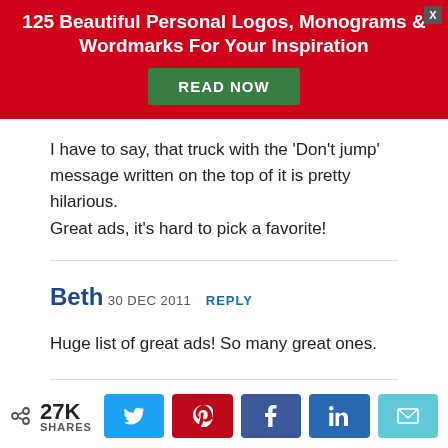[Figure (infographic): Red advertisement banner with title '125 Beautiful Personal Logos, Monograms & Wordmarks For Your Inspiration' and a green 'READ NOW' button, with an X close button in the top right corner.]
I have to say, that truck with the 'Don't jump' message written on the top of it is pretty hilarious.
Great ads, it's hard to pick a favorite!
Beth 30 DEC 2011 REPLY
Huge list of great ads! So many great ones.
Pingback: 5 creative ideas for recruiting through social media | Tradeshift Blog